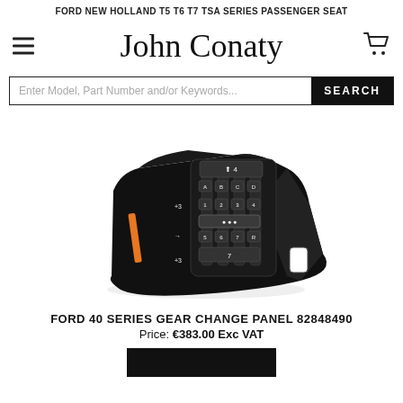FORD NEW HOLLAND T5 T6 T7 TSA SERIES PASSENGER SEAT
John Conaty
[Figure (screenshot): Search bar with text 'Enter Model, Part Number and/or Keywords...' and a black SEARCH button]
[Figure (photo): Black Ford 40 Series gear change panel part number 82848490, angled view showing gear selector markings]
FORD 40 SERIES GEAR CHANGE PANEL 82848490
Price: €383.00 Exc VAT